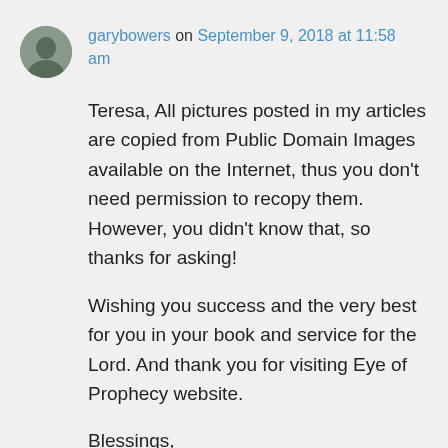garybowers on September 9, 2018 at 11:58 am
Teresa, All pictures posted in my articles are copied from Public Domain Images available on the Internet, thus you don’t need permission to recopy them. However, you didn’t know that, so thanks for asking!

Wishing you success and the very best for you in your book and service for the Lord. And thank you for visiting Eye of Prophecy website.

Blessings,
Gary